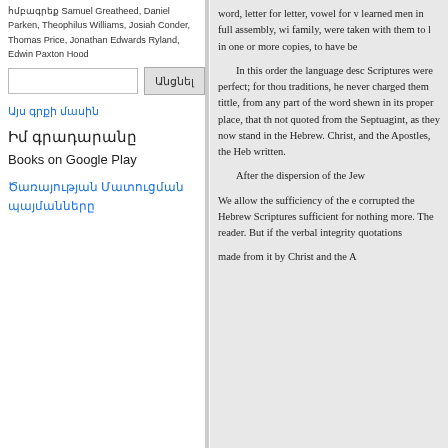հմբագրեք Samuel Greatheed, Daniel Parken, Theophilus Williams, Josiah Conder, Thomas Price, Jonathan Edwards Ryland, Edwin Paxton Hood
Այս գրքի մասին
Իմ գրադարանը
Books on Google Play
Ծառայության Մատուցման պայմանները
word, letter for letter, vowel for v learned men in full assembly, wi family, were taken with them to l in one or more copies, to have be

In this order the language desc Scriptures were perfect; for thou traditions, he never charged them tittle, from any part of the word shewn in its proper place, that th not quoted from the Septuagint, as they now stand in the Hebrew Christ, and the Apostles, the Heb written.

After the dispersion of the Jew

We allow the sufficiency of the e corrupted the Hebrew Scriptures sufficient for nothing more. The reader. But if the verbal integrity quotations

made from it by Christ and the A